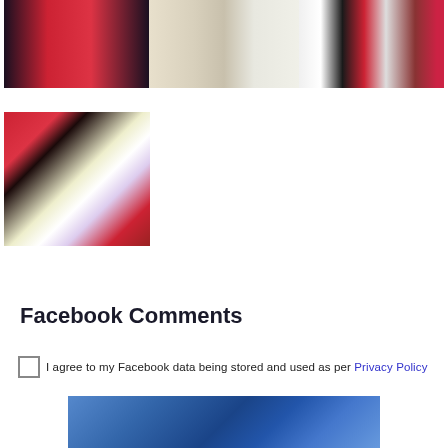[Figure (photo): Wide group photo showing multiple people at a party/event, including people in red, white, and dark outfits]
[Figure (photo): Smaller photo of two women smiling against a red background]
Facebook Comments
I agree to my Facebook data being stored and used as per Privacy Policy
[Figure (screenshot): Partial Facebook comments embed widget showing blue gradient background]